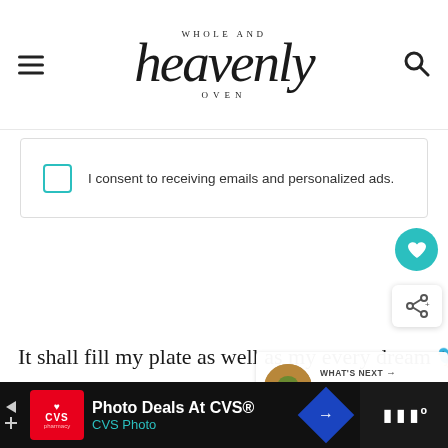Whole and Heavenly Oven
I consent to receiving emails and personalized ads.
It shall fill my plate as well as my every dream 🐦
WHAT'S NEXT → Jerk Sweet Potato Steak...
[Figure (photo): Close-up food photo showing red tomatoes/berries, an avocado, lime, and glass bowl on a wooden surface]
[Figure (screenshot): CVS Photo Deals advertisement banner at the bottom of the page]